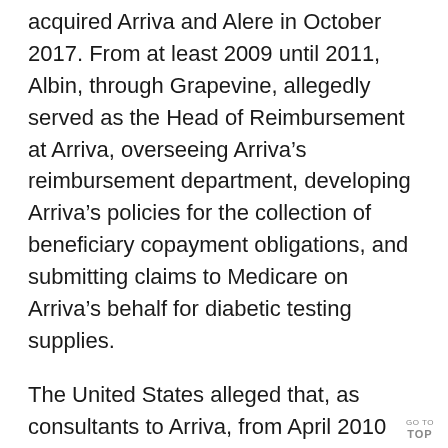acquired Arriva and Alere in October 2017. From at least 2009 until 2011, Albin, through Grapevine, allegedly served as the Head of Reimbursement at Arriva, overseeing Arriva’s reimbursement department, developing Arriva’s policies for the collection of beneficiary copayment obligations, and submitting claims to Medicare on Arriva’s behalf for diabetic testing supplies.
The United States alleged that, as consultants to Arriva, from April 2010 until the end of 2016, Albin and Grapevine